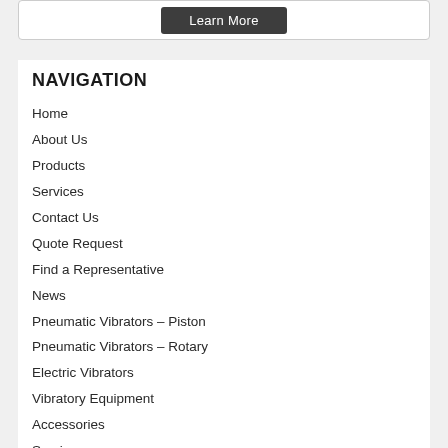[Figure (screenshot): A dark gray 'Learn More' button inside a white card at the top of the page]
NAVIGATION
Home
About Us
Products
Services
Contact Us
Quote Request
Find a Representative
News
Pneumatic Vibrators – Piston
Pneumatic Vibrators – Rotary
Electric Vibrators
Vibratory Equipment
Accessories
Services
News